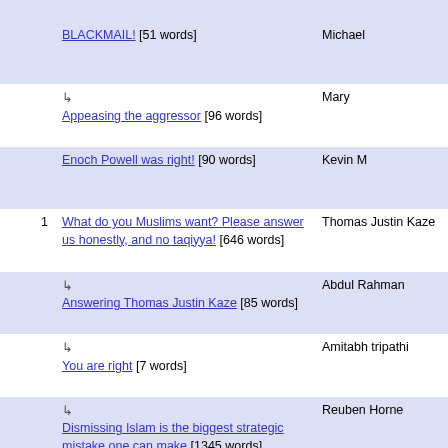|  | Title | Author | Date |
| --- | --- | --- | --- |
|  | BLACKMAIL! [51 words] | Michael | Aug 31, 2006 13:06 |
|  | ↳ Appeasing the aggressor [96 words] | Mary | Sep 1, 2006 03:26 |
|  | Enoch Powell was right! [90 words] | Kevin M | Aug 31, 2006 11:18 |
| 1 | What do you Muslims want? Please answer us honestly, and no taqiyya! [646 words] | Thomas Justin Kaze | Aug 31, 2006 07:24 |
|  | ↳ Answering Thomas Justin Kaze [85 words] | Abdul Rahman | Aug 31, 2006 17:39 |
|  | ↳ You are right [7 words] | Amitabh tripathi | Sep 1, 2006 00:58 |
|  | ↳ Dismissing Islam is the biggest strategic mistake one can make [1345 words] | Reuben Horne | Sep 6, 2006 20:41 |
|  | ↳ Reply to Abdul Rahman [376 words] | Will | Sep 10, 2006 09:19 |